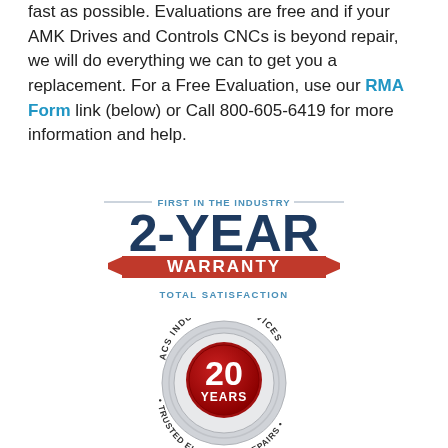fast as possible. Evaluations are free and if your AMK Drives and Controls CNCs is beyond repair, we will do everything we can to get you a replacement. For a Free Evaluation, use our RMA Form link (below) or Call 800-605-6419 for more information and help.
[Figure (illustration): 2-Year Warranty badge — 'FIRST IN THE INDUSTRY' text with decorative lines above, large '2-YEAR' text in dark blue, red ribbon banner with 'WARRANTY' in white, 'TOTAL SATISFACTION' in blue below. All in dark blue and red color scheme.]
[Figure (illustration): ACS Industrial Services circular badge/seal — silver outer ring with text 'ACS INDUSTRIAL SERVICES' and '• TRUSTED ELECTRONIC REPAIRS •', red metallic inner circle with '20 YEARS' in white text.]